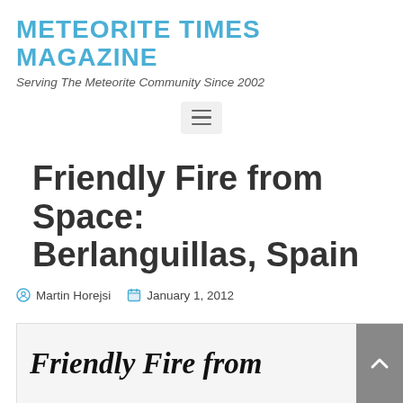Meteorite Times Magazine
Serving The Meteorite Community Since 2002
Friendly Fire from Space: Berlanguillas, Spain
Martin Horejsi   January 1, 2012
[Figure (other): Partial view of article header image showing italic bold text 'Friendly Fire from' with a scroll-to-top button overlay]